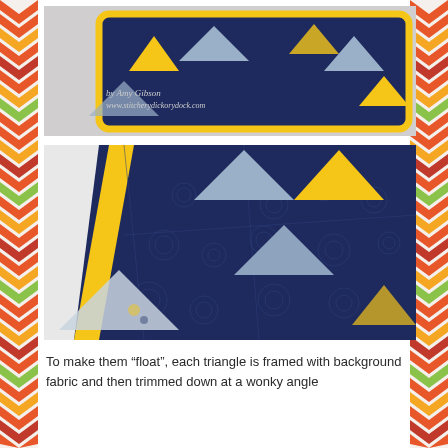[Figure (photo): Photo of a navy blue quilted pillow with yellow binding and triangle patchwork pattern, with text overlay 'by Amy Gibson www.stitcherydickorydock.com']
[Figure (photo): Close-up photo of navy blue quilted fabric with swirl quilting pattern and triangles in yellow, white, and patterned fabric, with yellow binding on edge]
To make them “float”, each triangle is framed with background fabric and then trimmed down at a wonky angle